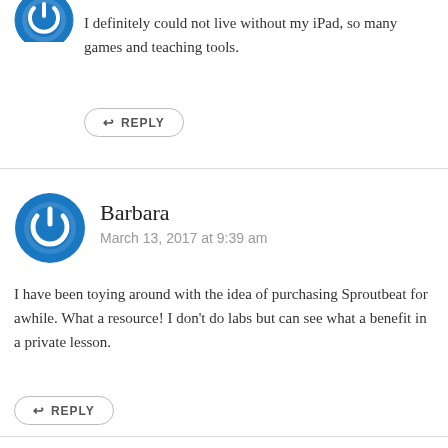[Figure (logo): Blue circular power button icon (avatar) partially visible at top]
I definitely could not live without my iPad, so many games and teaching tools.
↩ REPLY
[Figure (logo): Blue circular power button icon avatar for Barbara]
Barbara
March 13, 2017 at 9:39 am
I have been toying around with the idea of purchasing Sproutbeat for awhile. What a resource! I don't do labs but can see what a benefit in a private lesson.
↩ REPLY